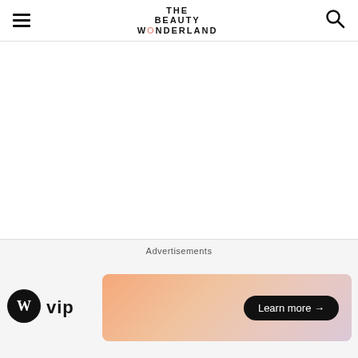THE BEAUTY WONDERLAND
[Figure (other): Large white/blank content area below the site header, representing an image or article content area that is not visible]
This watery hybrid between a toner and moisturizer does
Advertisements
[Figure (logo): WordPress VIP logo with circular WP icon and 'vip' text]
[Figure (other): Advertisement banner with peach/salmon gradient and 'Learn more →' button]